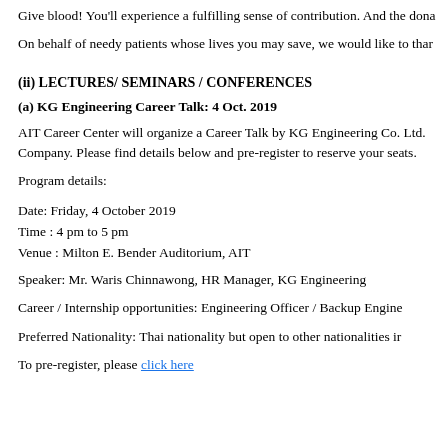Give blood! You'll experience a fulfilling sense of contribution. And the dona
On behalf of needy patients whose lives you may save, we would like to thar
(ii) LECTURES/ SEMINARS / CONFERENCES
(a) KG Engineering Career Talk: 4 Oct. 2019
AIT Career Center will organize a Career Talk by KG Engineering Co. Ltd. Company. Please find details below and pre-register to reserve your seats.
Program details:
Date: Friday, 4 October 2019
Time : 4 pm to 5 pm
Venue : Milton E. Bender Auditorium, AIT
Speaker: Mr. Waris Chinnawong, HR Manager, KG Engineering
Career / Internship opportunities: Engineering Officer / Backup Engine
Preferred Nationality: Thai nationality but open to other nationalities ir
To pre-register, please click here